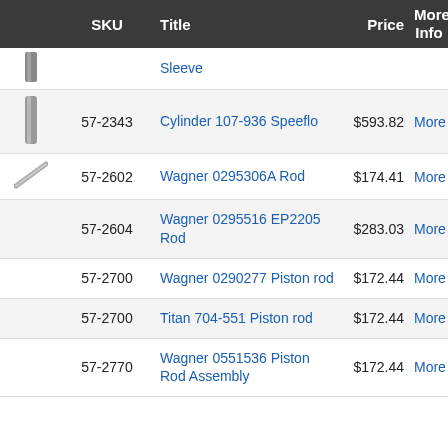|  | SKU | Title | Price | More Info |
| --- | --- | --- | --- | --- |
| [img] |  | Sleeve |  |  |
| [img] | 57-2343 | Cylinder 107-936 Speeflo | $593.82 | More |
| [img] | 57-2602 | Wagner 0295306A Rod | $174.41 | More |
|  | 57-2604 | Wagner 0295516 EP2205 Rod | $283.03 | More |
|  | 57-2700 | Wagner 0290277 Piston rod | $172.44 | More |
|  | 57-2700 | Titan 704-551 Piston rod | $172.44 | More |
|  | 57-2770 | Wagner 0551536 Piston Rod Assembly | $172.44 | More |